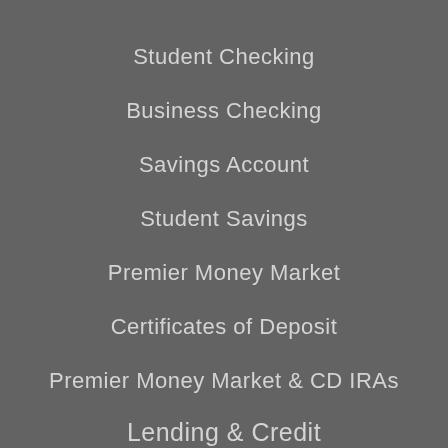Student Checking
Business Checking
Savings Account
Student Savings
Premier Money Market
Certificates of Deposit
Premier Money Market & CD IRAs
Lending & Credit
Express Loan